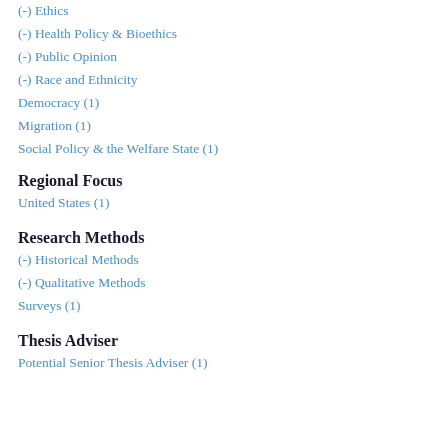(-) Ethics
(-) Health Policy & Bioethics
(-) Public Opinion
(-) Race and Ethnicity
Democracy (1)
Migration (1)
Social Policy & the Welfare State (1)
Regional Focus
United States (1)
Research Methods
(-) Historical Methods
(-) Qualitative Methods
Surveys (1)
Thesis Adviser
Potential Senior Thesis Adviser (1)